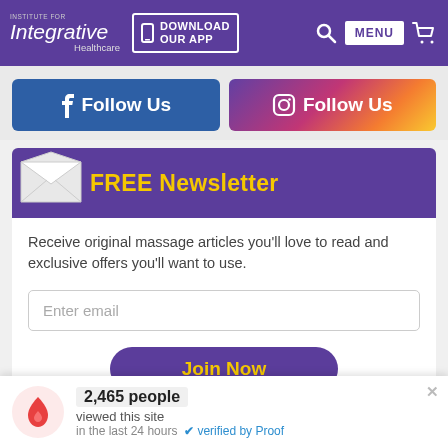Institute for Integrative Healthcare | DOWNLOAD OUR APP | MENU
[Figure (screenshot): Facebook Follow Us button (blue)]
[Figure (screenshot): Instagram Follow Us button (gradient)]
FREE Newsletter
Receive original massage articles you'll love to read and exclusive offers you'll want to use.
Enter email
Join Now
2,465 people viewed this site in the last 24 hours  verified by Proof